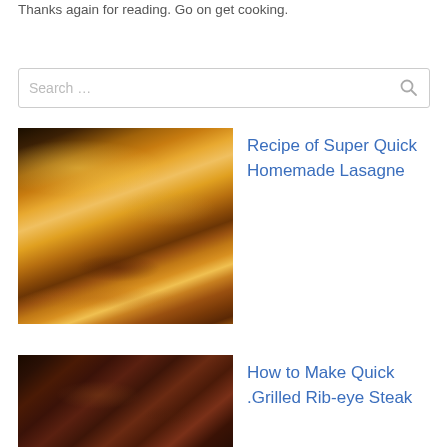Thanks again for reading. Go on get cooking.
[Figure (other): Search box with placeholder text 'Search ...' and a magnifying glass icon]
[Figure (photo): Close-up photo of a slice of homemade lasagne on a white plate, showing layered pasta, meat sauce, and golden melted cheese on top]
Recipe of Super Quick Homemade Lasagne
[Figure (photo): Photo of grilled rib-eye steak on a plate, dark charred surface with some toppings]
How to Make Quick .Grilled Rib-eye Steak